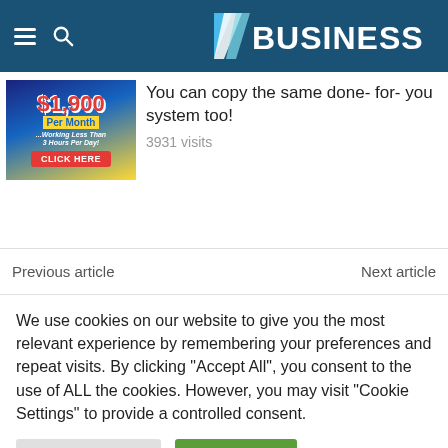BUSINESS
[Figure (photo): Advertisement thumbnail showing '$1,900 Per Month ...Working Less Than 3 Hours Per Day! CLICK HERE']
You can copy the same done- for- you system too!
3931 visits
Previous article
Next article
We use cookies on our website to give you the most relevant experience by remembering your preferences and repeat visits. By clicking "Accept All", you consent to the use of ALL the cookies. However, you may visit "Cookie Settings" to provide a controlled consent.
Cookie Settings
Accept All